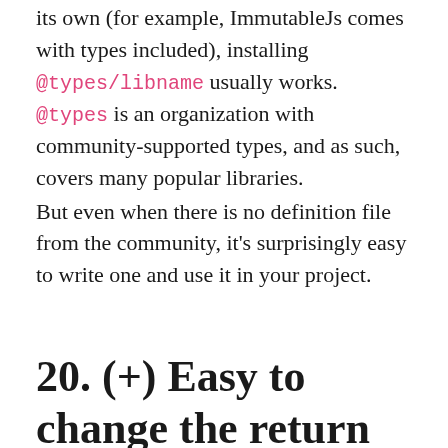its own (for example, ImmutableJs comes with types included), installing @types/libname usually works. @types is an organization with community-supported types, and as such, covers many popular libraries.

But even when there is no definition file from the community, it's surprisingly easy to write one and use it in your project.
20. (+) Easy to change the return of a function